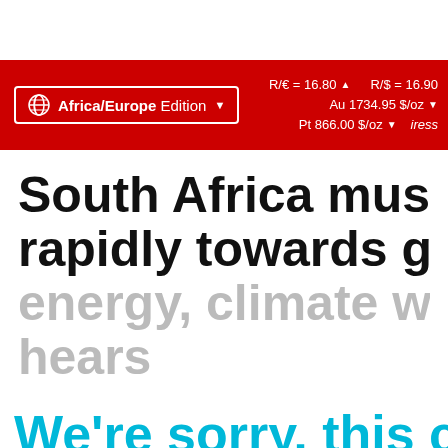Africa/Europe Edition   R/€ = 16.80 ▲   R/$ = 16.90   Au 1734.95 $/oz ▼   Pt 866.00 $/oz ▼   iress
South Africa must move rapidly towards green energy, climate webinar hears
We're sorry, this content is only available